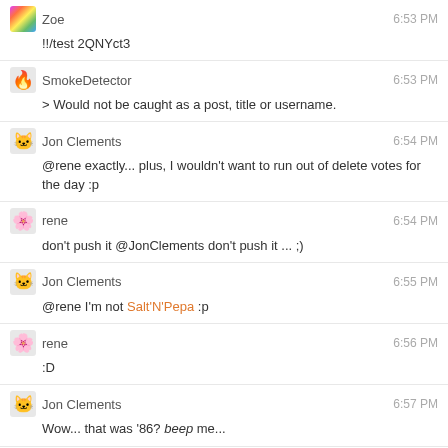Zoe  6:53 PM
!!/test 2QNYct3
SmokeDetector  6:53 PM
> Would not be caught as a post, title or username.
Jon Clements  6:54 PM
@rene exactly... plus, I wouldn't want to run out of delete votes for the day :p
rene  6:54 PM
don't push it @JonClements don't push it ... ;)
Jon Clements  6:55 PM
@rene I'm not Salt'N'Pepa :p
rene  6:56 PM
:D
Jon Clements  6:57 PM
Wow... that was '86? beep me...
0 - 19h
19 - 0h
← prev day   next day →   last day »
join this room